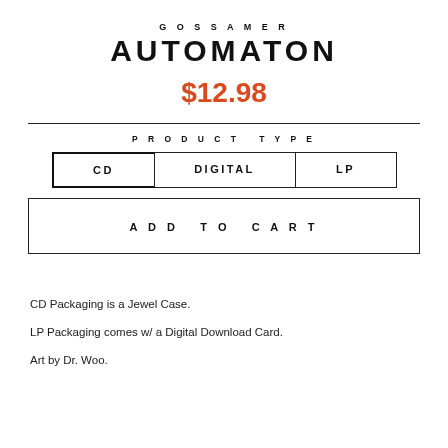GOSSAMER
AUTOMATON
$12.98
PRODUCT TYPE
CD   DIGITAL   LP
ADD TO CART
CD Packaging is a Jewel Case.
LP Packaging comes w/ a Digital Download Card.
Art by Dr. Woo.